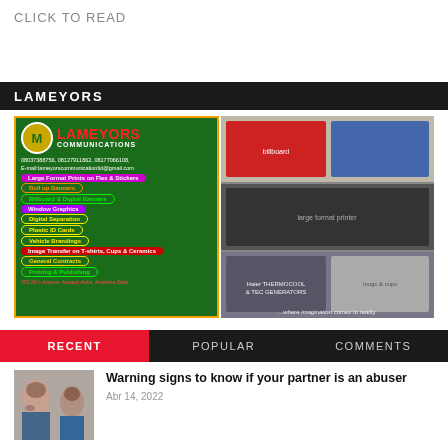CLICK TO READ
LAMEYORS
[Figure (photo): Lameyors Communications advertisement showing logo, services list including Large Format Prints, Roll up Banners, Billboard & Digital Banners, Window Graphics, Digital Separation, Plastic ID Cards, Vehicle Brandings, Image Transfer, General Contracts, Printing & Publishing, address at 350 Zik's Avenue, Amawyi Awka, Anambra State, and collage of product photos on the right]
RECENT   POPULAR   COMMENTS
Warning signs to know if your partner is an abuser
Abr 14, 2022